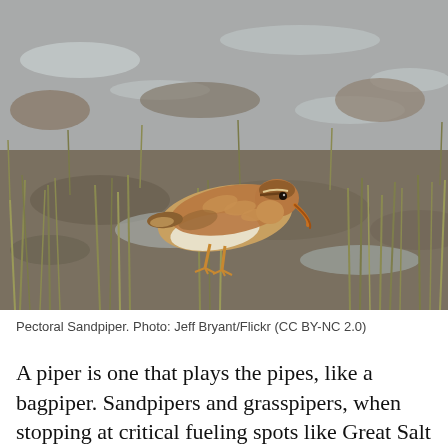[Figure (photo): A Pectoral Sandpiper bird standing on muddy ground with grass tufts and shallow water pools in the background. The bird has brown and buff speckled plumage on top, white underparts, an orange-based bill pointed downward toward the mud, and orange-yellow legs.]
Pectoral Sandpiper. Photo: Jeff Bryant/Flickr (CC BY-NC 2.0)
A piper is one that plays the pipes, like a bagpiper. Sandpipers and grasspipers, when stopping at critical fueling spots like Great Salt Lake, are motion